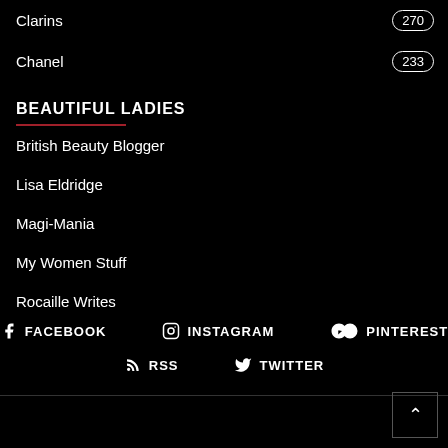Clarins 270
Chanel 233
BEAUTIFUL LADIES
British Beauty Blogger
Lisa Eldridge
Magi-Mania
My Women Stuff
Rocaille Writes
FACEBOOK  INSTAGRAM  PINTEREST  RSS  TWITTER